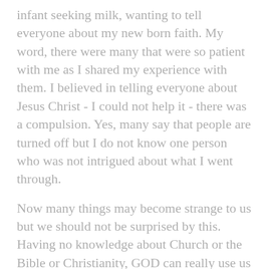infant seeking milk, wanting to tell everyone about my new born faith. My word, there were many that were so patient with me as I shared my experience with them. I believed in telling everyone about Jesus Christ - I could not help it - there was a compulsion. Yes, many say that people are turned off but I do not know one person who was not intrigued about what I went through.
Now many things may become strange to us but we should not be surprised by this. Having no knowledge about Church or the Bible or Christianity, GOD can really use us to prompt people regarding where they are at in their own walk. Many of my parent's friends are Catholic and they have been a blessing to our family. Many have been confirmed or baptized but do not receive anything from Church. These people need to be reminded that God is watching over them, being patient for them to return to Him. See, many have committed apostasy and do not realize that God wants them to get to know Him through constant